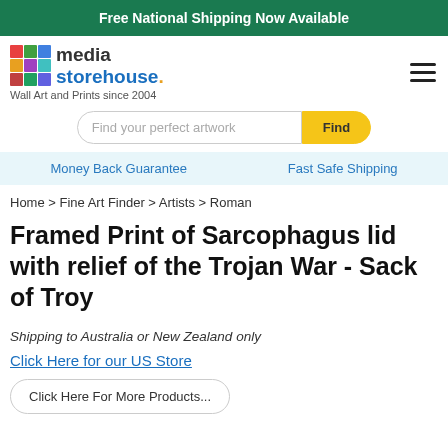Free National Shipping Now Available
[Figure (logo): Media Storehouse logo with colorful grid icon and text 'media storehouse. Wall Art and Prints since 2004']
Find your perfect artwork
Money Back Guarantee   Fast Safe Shipping
Home > Fine Art Finder > Artists > Roman
Framed Print of Sarcophagus lid with relief of the Trojan War - Sack of Troy
Shipping to Australia or New Zealand only
Click Here for our US Store
Click Here For More Products...